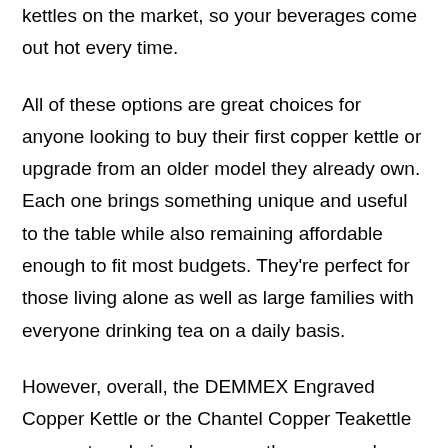kettles on the market, so your beverages come out hot every time.
All of these options are great choices for anyone looking to buy their first copper kettle or upgrade from an older model they already own. Each one brings something unique and useful to the table while also remaining affordable enough to fit most budgets. They're perfect for those living alone as well as large families with everyone drinking tea on a daily basis.
However, overall, the DEMMEX Engraved Copper Kettle or the Chantel Copper Teakettle are our top choices because they are made from thick copper,